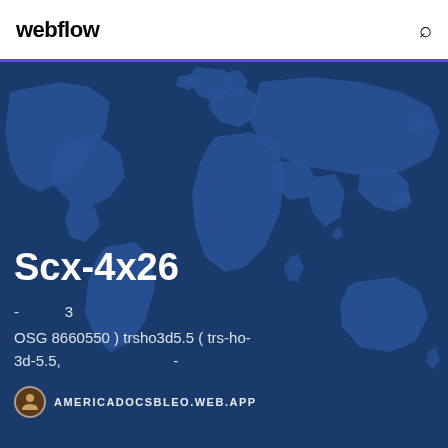webflow
[Figure (map): World map illustration with dark blue continents on a slightly lighter blue oceanic background, used as hero section background]
Scx-4x26
- 3
OSG 8660550 ) trsho3d5.5 ( trs-ho-3d-5.5, -
AMERICADOCSBLEO.WEB.APP